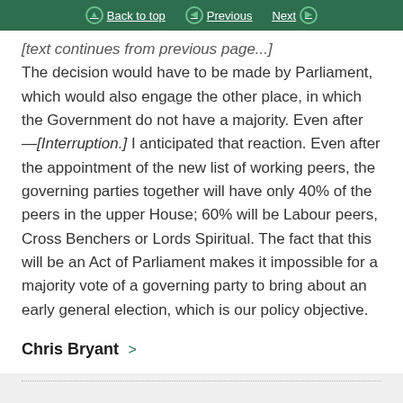Back to top | Previous | Next
The decision would have to be made by Parliament, which would also engage the other place, in which the Government do not have a majority. Even after —[Interruption.] I anticipated that reaction. Even after the appointment of the new list of working peers, the governing parties together will have only 40% of the peers in the upper House; 60% will be Labour peers, Cross Benchers or Lords Spiritual. The fact that this will be an Act of Parliament makes it impossible for a majority vote of a governing party to bring about an early general election, which is our policy objective.
Chris Bryant >